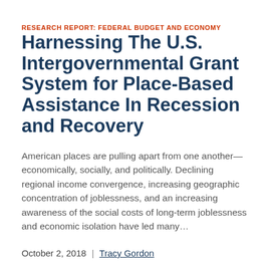RESEARCH REPORT: FEDERAL BUDGET AND ECONOMY
Harnessing The U.S. Intergovernmental Grant System for Place-Based Assistance In Recession and Recovery
American places are pulling apart from one another—economically, socially, and politically. Declining regional income convergence, increasing geographic concentration of joblessness, and an increasing awareness of the social costs of long-term joblessness and economic isolation have led many...
October 2, 2018 | Tracy Gordon